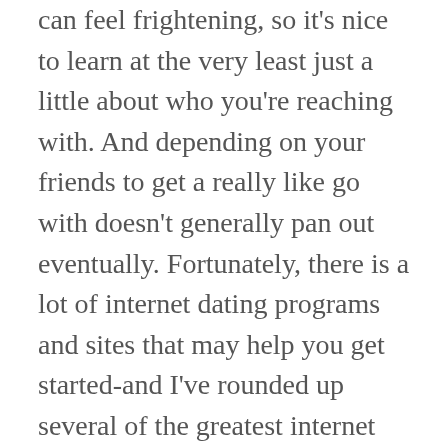can feel frightening, so it's nice to learn at the very least just a little about who you're reaching with. And depending on your friends to get a really like go with doesn't generally pan out eventually. Fortunately, there is a lot of internet dating programs and sites that may help you get started-and I've rounded up several of the greatest internet dating sites and applications here.
Although some individuals enjoy being in a relationship